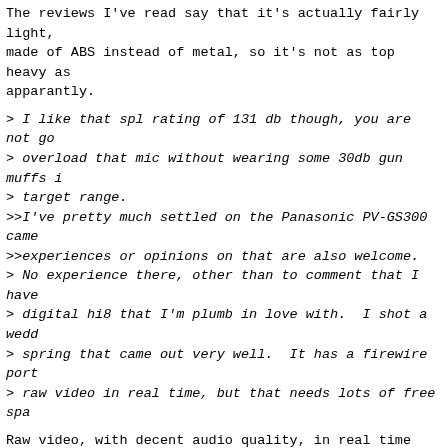The reviews I've read say that it's actually fairly light, made of ABS instead of metal, so it's not as top heavy as apparantly.
> I like that spl rating of 131 db though, you are not go
> overload that mic without wearing some 30db gun muffs i
> target range.
>>I've pretty much settled on the Panasonic PV-GS300 came
>>experiences or opinions on that are also welcome.
> No experience there, other than to comment that I have
> digital hi8 that I'm plumb in love with.  I shot a wedd
> spring that came out very well.  It has a firewire port
> raw video in real time, but that needs lots of free spa
Raw video, with decent audio quality, in real time via ie
main thing I'm after. Not necessarily going direct to dis
main purpose is streaming talks live in ogg theora with i
LAC2006, DCLUG, BWBUG and maybe, if I can ever get myself
Chantilly on first Saturday mornings, NovaLUG as well. Jo
this at LAC2005 and I've done a few DCLUG, BWBUG meetings
meeting since, but am looking to get my own gear so I can
outside of RFA without relying on their equipment.
> drive for half an hour.  That 20 minute wedding was ove
> But kino had no problems editing out my shakes.  And th
> videocd I burned several copies of smunched that down m
> with no visible loss of quality that I could see, and i
> everybodies cd readers as far as I know, in addition in
> player, an el-cheapo Apex.